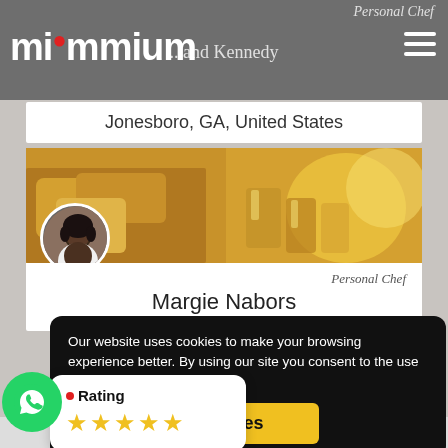[Figure (screenshot): miummium logo with red dot on letter u, white text on gray background nav bar]
Personal Chef
...and Kennedy
Jonesboro, GA, United States
[Figure (photo): Food banner with bread, drinks and warm lighting, with circular profile photo of chef Margie Nabors overlaid in bottom left]
Personal Chef
Margie Nabors
Our website uses cookies to make your browsing experience better. By using our site you consent to the use of cookies.  Learn more
[Figure (other): Yellow 'Yes' button for cookie consent]
[Figure (other): Green WhatsApp floating button]
Rating
[Figure (other): Five gold star rating display]
Nicole Gilbert